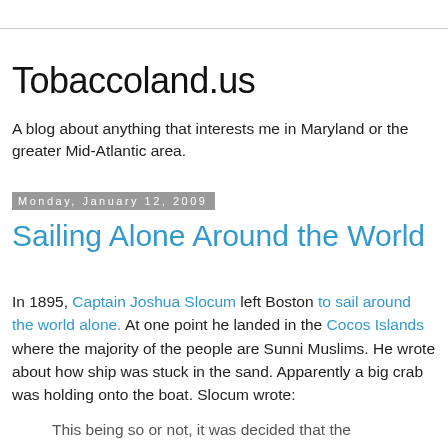Tobaccoland.us
A blog about anything that interests me in Maryland or the greater Mid-Atlantic area.
Monday, January 12, 2009
Sailing Alone Around the World
In 1895, Captain Joshua Slocum left Boston to sail around the world alone. At one point he landed in the Cocos Islands where the majority of the people are Sunni Muslims. He wrote about how ship was stuck in the sand. Apparently a big crab was holding onto the boat. Slocum wrote:
This being so or not, it was decided that the